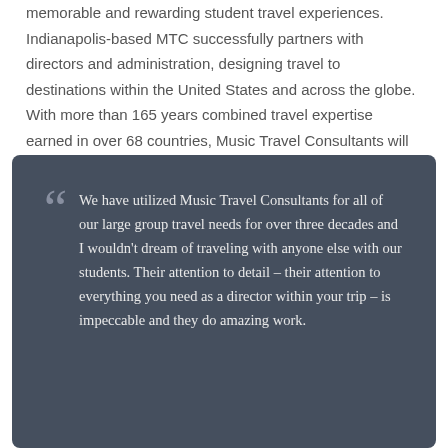memorable and rewarding student travel experiences. Indianapolis-based MTC successfully partners with directors and administration, designing travel to destinations within the United States and across the globe. With more than 165 years combined travel expertise earned in over 68 countries, Music Travel Consultants will anticipate group needs and deliver an amazing experience without surprises or hidden costs.
We have utilized Music Travel Consultants for all of our large group travel needs for over three decades and I wouldn't dream of traveling with anyone else with our students. Their attention to detail – their attention to everything you need as a director within your trip – is impeccable and they do amazing work.